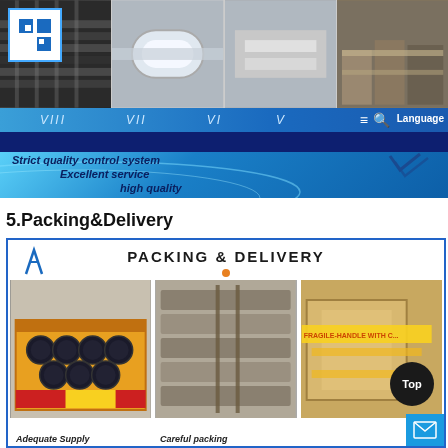[Figure (screenshot): Website header with product photos showing metal rods and industrial materials, navigation strip with Roman numerals VIII, VII, VI, V, logo, search and language controls, blue bar, and blue gradient banner with taglines: 'Strict quality control system', 'Excellent service', 'high quality']
5.Packing&Delivery
[Figure (infographic): Packing & Delivery section with logo, title 'PACKING & DELIVERY', three photos: tubes in boxes (Adequate Supply), bundled materials (Careful packing), and fragile-labeled boxes. Top button and mail icon visible.]